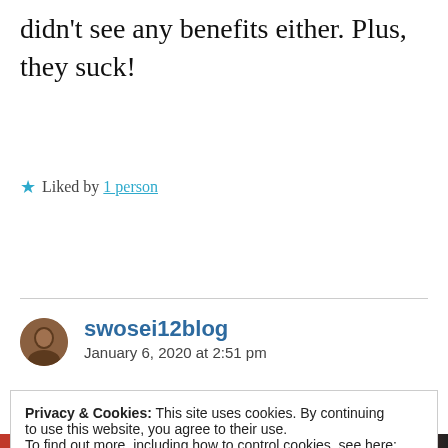didn't see any benefits either. Plus, they suck!
★ Liked by 1 person
Reply
swosei12blog
January 6, 2020 at 2:51 pm
Privacy & Cookies: This site uses cookies. By continuing to use this website, you agree to their use.
To find out more, including how to control cookies, see here:
Cookie Policy
Close and accept